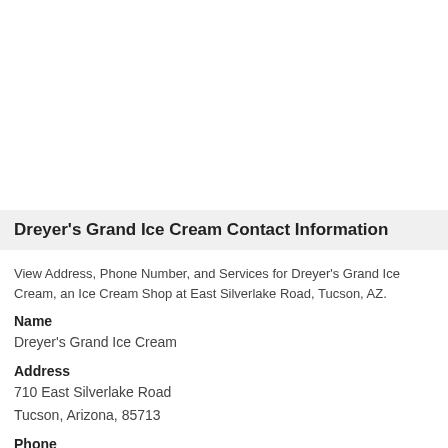Dreyer's Grand Ice Cream Contact Information
View Address, Phone Number, and Services for Dreyer's Grand Ice Cream, an Ice Cream Shop at East Silverlake Road, Tucson, AZ.
Name
Dreyer's Grand Ice Cream
Address
710 East Silverlake Road
Tucson, Arizona, 85713
Phone